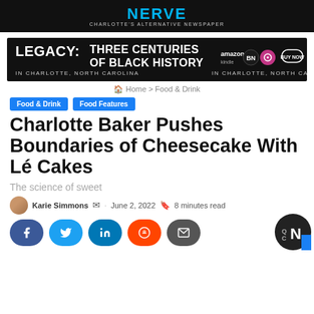NERVE — Charlotte's Alternative Newspaper
[Figure (illustration): Advertisement banner: LEGACY: THREE CENTURIES OF BLACK HISTORY IN CHARLOTTE, NORTH CAROLINA — with Amazon Kindle, BN, and other icons and BUY NOW button]
Home > Food & Drink
Food & Drink
Food Features
Charlotte Baker Pushes Boundaries of Cheesecake With Lé Cakes
The science of sweet
Karie Simmons · June 2, 2022 · 8 minutes read
[Figure (other): Social share buttons: Facebook, Twitter, LinkedIn, Reddit, Email]